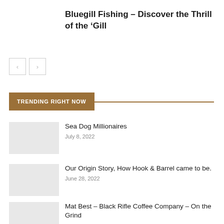Bluegill Fishing – Discover the Thrill of the ‘Gill
[Figure (other): Navigation previous/next arrow buttons (left angle bracket and right angle bracket in bordered squares)]
TRENDING RIGHT NOW
[Figure (other): Thumbnail image placeholder for Sea Dog Millionaires article]
Sea Dog Millionaires
July 8, 2022
[Figure (other): Thumbnail image placeholder for Our Origin Story article]
Our Origin Story, How Hook & Barrel came to be.
June 28, 2022
[Figure (other): Thumbnail image placeholder for Mat Best article]
Mat Best – Black Rifle Coffee Company – On the Grind